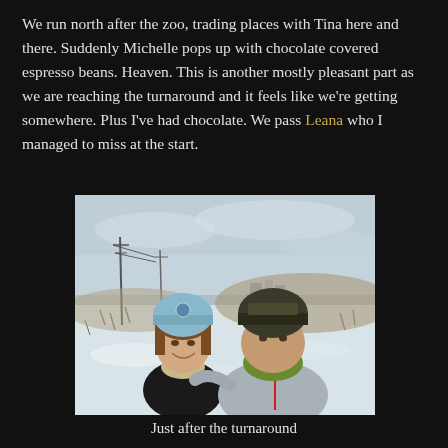We run north after the zoo, trading places with Tina here and there.  Suddenly Michelle pops up with chocolate covered espresso beans.  Heaven.  This is another mostly pleasant part as we are reaching the turnaround and it feels like we're getting somewhere.  Plus I've had chocolate.  We pass Leana who I managed to miss at the start.
[Figure (photo): Two runners taking a selfie outdoors in a snowy, wintry field. The woman on the left is smiling and wearing a light blue beanie hat and a scarf. The man on the right is wearing a dark knit cap with text on it and a green neck gaiter covering his face, with a grey athletic zip-up jacket. Snow-covered ground and utility poles are visible in the background under a grey winter sky.]
Just after the turnaround